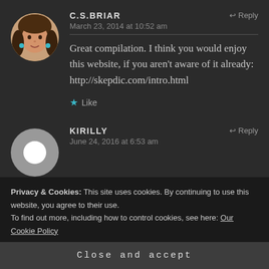C.S.BRIAR says: March 23, 2014 at 10:52 am
Great compilation. I think you would enjoy this website, if you aren't aware of it already: http://skepdic.com/intro.html
Like
KIRILLY says: June 24, 2016 at 6:53 am
Privacy & Cookies: This site uses cookies. By continuing to use this website, you agree to their use.
To find out more, including how to control cookies, see here: Our Cookie Policy
Close and accept